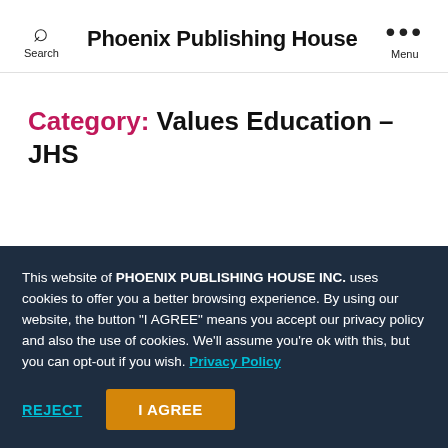Phoenix Publishing House
Category: Values Education – JHS
ALL   JUNIOR HIGH SCHOOL   VALUES EDUCATION   JHS
This website of PHOENIX PUBLISHING HOUSE INC. uses cookies to offer you a better browsing experience. By using our website, the button "I AGREE" means you accept our privacy policy and also the use of cookies. We'll assume you're ok with this, but you can opt-out if you wish. Privacy Policy
REJECT   I AGREE